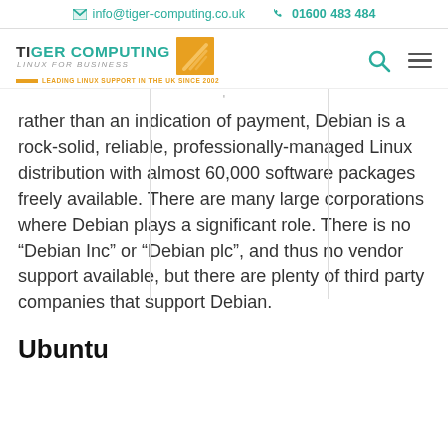info@tiger-computing.co.uk   01600 483 484
[Figure (logo): Tiger Computing - Linux for Business logo with orange square icon. Tagline: LEADING LINUX SUPPORT IN THE UK SINCE 2002]
rather than an indication of payment, Debian is a rock-solid, reliable, professionally-managed Linux distribution with almost 60,000 software packages freely available. There are many large corporations where Debian plays a significant role. There is no “Debian Inc” or “Debian plc”, and thus no vendor support available, but there are plenty of third party companies that support Debian.
Ubuntu